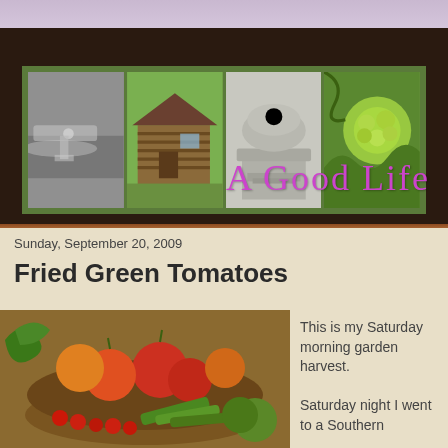[Figure (photo): Blog header banner with four photos in a green frame on dark brown background: black-and-white child with boat, log cabin, architectural column capital, green hydrangea leaves]
A Good Life
Sunday, September 20, 2009
Fried Green Tomatoes
[Figure (photo): Bowl of fresh garden tomatoes and vegetables including red and orange heirloom tomatoes, cherry tomatoes, okra, and greens on a wooden surface]
This is my Saturday morning garden harvest.

Saturday night I went to a Southern Dinner at...